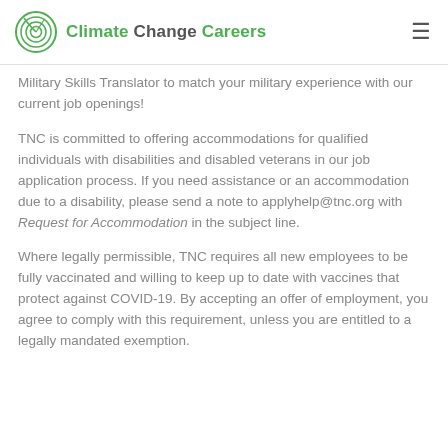Climate Change Careers
Military Skills Translator to match your military experience with our current job openings!
TNC is committed to offering accommodations for qualified individuals with disabilities and disabled veterans in our job application process. If you need assistance or an accommodation due to a disability, please send a note to applyhelp@tnc.org with Request for Accommodation in the subject line.
Where legally permissible, TNC requires all new employees to be fully vaccinated and willing to keep up to date with vaccines that protect against COVID-19. By accepting an offer of employment, you agree to comply with this requirement, unless you are entitled to a legally mandated exemption.